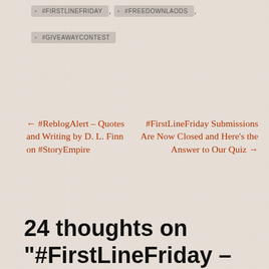#FIRSTLINEFRIDAY
#FREEDOWNLAODS
#GIVEAWAYCONTEST
← #ReblogAlert – Quotes and Writing by D. L. Finn on #StoryEmpire
#FirstLineFriday Submissions Are Now Closed and Here's the Answer to Our Quiz →
24 thoughts on "#FirstLineFriday –